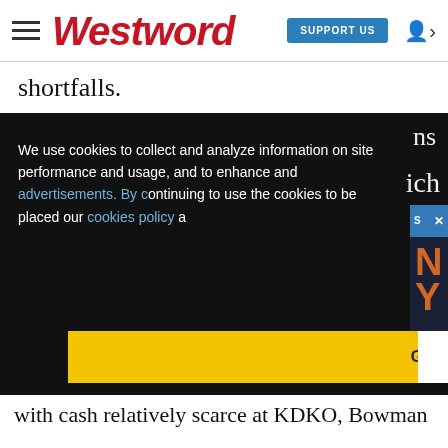Westword | SUPPORT US
shortfalls.
We use cookies to collect and analyze information on site performance and usage, and to enhance and advertisements. By continuing to use the cookies to be placed our cookies policy a
[Figure (screenshot): Sponsored content video thumbnail showing Rockies vs. Mets logos with a mute button overlay and a blue sponsored content bar at top reading 'Sponsored Content - Rockies vs. Mets H...' with an X close button]
[Figure (other): Yellow 'Got it!' button for cookie consent]
with cash relatively scarce at KDKO, Bowman